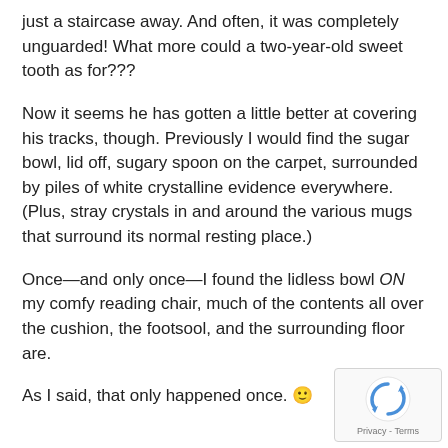just a staircase away. And often, it was completely unguarded! What more could a two-year-old sweet tooth as for???
Now it seems he has gotten a little better at covering his tracks, though. Previously I would find the sugar bowl, lid off, sugary spoon on the carpet, surrounded by piles of white crystalline evidence everywhere. (Plus, stray crystals in and around the various mugs that surround its normal resting place.)
Once—and only once—I found the lidless bowl ON my comfy reading chair, much of the contents all over the cushion, the footsool, and the surrounding floor are.
As I said, that only happened once. 🙂
[Figure (logo): Google reCAPTCHA badge with spinning arrows logo and Privacy - Terms text]